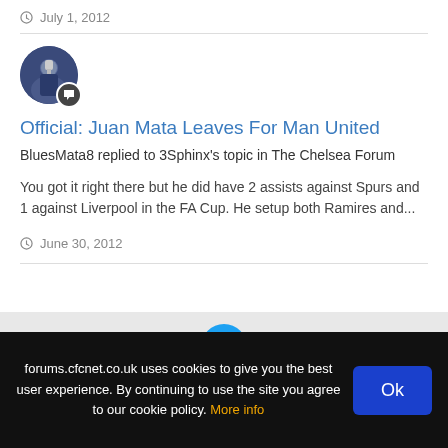July 1, 2012
[Figure (photo): Circular avatar photo of a footballer holding a trophy, with a speech/comment badge icon overlaid at bottom-right]
Official: Juan Mata Leaves For Man United
BluesMata8 replied to 3Sphinx's topic in The Chelsea Forum
You got it right there but he did have 2 assists against Spurs and 1 against Liverpool in the FA Cup. He setup both Ramires and...
June 30, 2012
[Figure (logo): Twitter bird logo in a teal/cyan circle]
forums.cfcnet.co.uk uses cookies to give you the best user experience. By continuing to use the site you agree to our cookie policy. More info